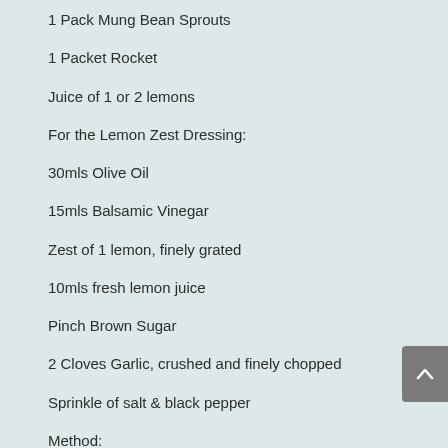1 Pack Mung Bean Sprouts
1 Packet Rocket
Juice of 1 or 2 lemons
For the Lemon Zest Dressing:
30mls Olive Oil
15mls Balsamic Vinegar
Zest of 1 lemon, finely grated
10mls fresh lemon juice
Pinch Brown Sugar
2 Cloves Garlic, crushed and finely chopped
Sprinkle of salt & black pepper
Method: